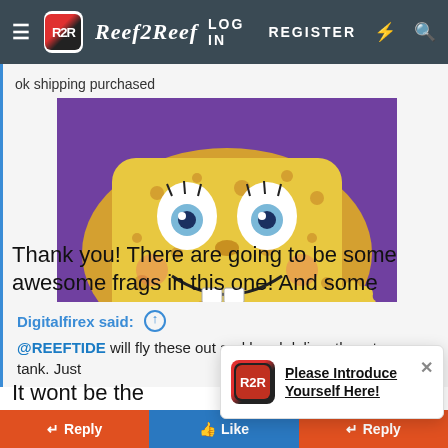Reef2Reef — LOG IN  REGISTER
ok shipping purchased
[Figure (photo): SpongeBob SquarePants character image, cartoon face close-up]
Click to expand...
Thank you! There are going to be some awesome frags in this one! And some AMAZING pricing
Digitalfirex said: ↑
@REEFTIDE will fly these out and hand deliver them to your tank. Just
It wont be the
[Figure (screenshot): Notification popup: Please Introduce Yourself Here!]
↩ Reply  👍 Like  ↩ Reply